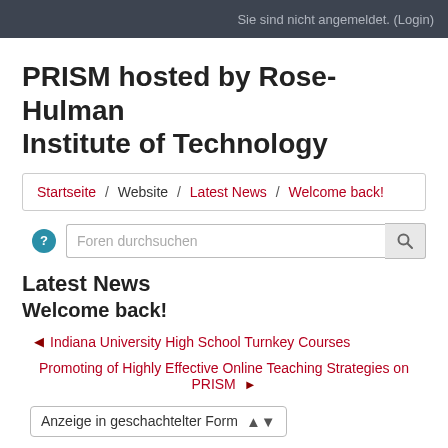Sie sind nicht angemeldet. (Login)
PRISM hosted by Rose-Hulman Institute of Technology
Startseite / Website / Latest News / Welcome back!
[Figure (screenshot): Search bar with help icon and 'Foren durchsuchen' placeholder text]
Latest News
Welcome back!
◄ Indiana University High School Turnkey Courses
Promoting of Highly Effective Online Teaching Strategies on PRISM ►
Anzeige in geschachtelter Form